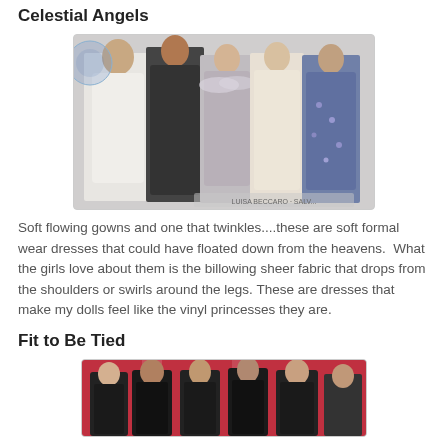Celestial Angels
[Figure (photo): Five female fashion models in flowing formal gowns — white, black, floral, ivory lace, and blue floral dresses — runway/fashion photo collage]
Soft flowing gowns and one that twinkles....these are soft formal wear dresses that could have floated down from the heavens.  What the girls love about them is the billowing sheer fabric that drops from the shoulders or swirls around the legs. These are dresses that make my dolls feel like the vinyl princesses they are.
Fit to Be Tied
[Figure (photo): Five female fashion models/dolls in fitted black dresses at a red carpet event, partial view]